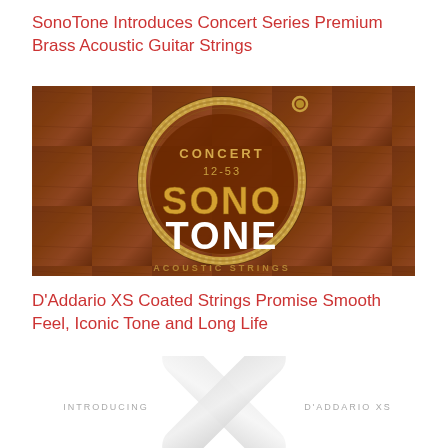SonoTone Introduces Concert Series Premium Brass Acoustic Guitar Strings
[Figure (photo): Product photo of SonoTone Concert 12-53 acoustic guitar strings packaging on a brown wood background, featuring a coiled guitar string forming a circle and the words CONCERT 12-53 SONO TONE in yellow and white text]
D'Addario XS Coated Strings Promise Smooth Feel, Iconic Tone and Long Life
[Figure (photo): Product image showing D'Addario XS coated strings with a large X shape made of translucent silver/white rounded rectangles, with text INTRODUCING on the left and D'ADDARIO XS on the right in grey lettering on white background]